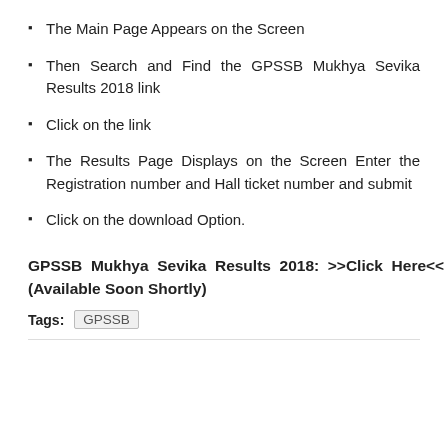The Main Page Appears on the Screen
Then Search and Find the GPSSB Mukhya Sevika Results 2018 link
Click on the link
The Results Page Displays on the Screen Enter the Registration number and Hall ticket number and submit
Click on the download Option.
GPSSB Mukhya Sevika Results 2018: >>Click Here<< (Available Soon Shortly)
Tags: GPSSB